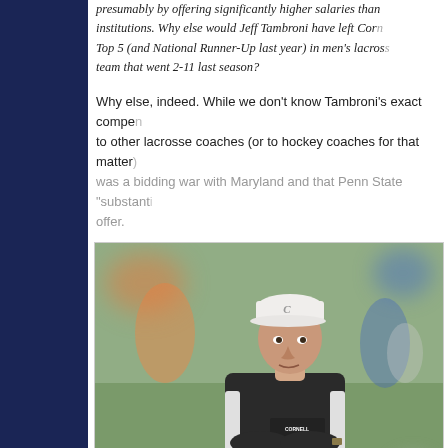presumably by offering significantly higher salaries than institutions. Why else would Jeff Tambroni have left Cornell—Top 5 (and National Runner-Up last year) in men's lacrosse—for a team that went 2-11 last season?
Why else, indeed. While we don't know Tambroni's exact compensation compared to other lacrosse coaches (or to hockey coaches for that matter), we know there was a bidding war with Maryland and that Penn State "substantially" increased their offer.
[Figure (photo): Photo of Jeff Tambroni wearing a white Cornell cap and black Cornell Lacrosse jacket, arms crossed, standing outdoors on a green field with blurred background figures.]